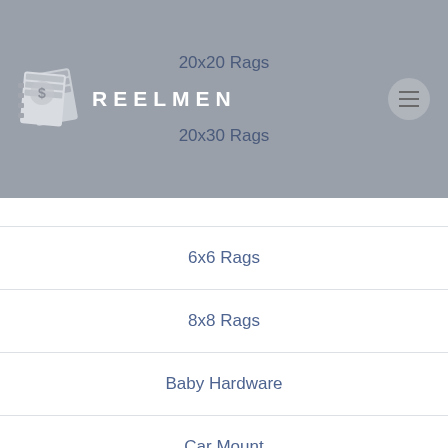[Figure (logo): Reelmen logo with film strip graphic and white brand name text REELMEN on grey navigation bar header]
20x20 Rags
20x30 Rags
6x6 Rags
8x8 Rags
Baby Hardware
Car Mount
Carts
Flags
Hand Tools
Jr Hardware
Ladders and Scaffolds
Misc Gear